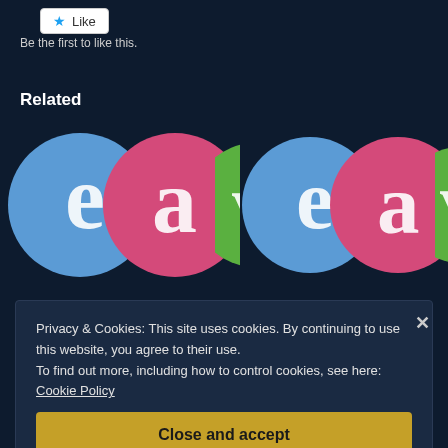[Figure (other): Like button with star icon]
Be the first to like this.
Related
[Figure (logo): Colorful circles logo with letters e, a, v - left card (Agent Val Gives Back)]
AGENT VAL GIVES BACK: 2012
14 Nov 2012
[Figure (logo): Colorful circles logo with letters e, a, v - right card (Thanksgiving Giveaway Update)]
THANKSGIVING GIVEAWAY UPDATE
19 Nov 2012
Privacy & Cookies: This site uses cookies. By continuing to use this website, you agree to their use.
To find out more, including how to control cookies, see here: Cookie Policy
Close and accept